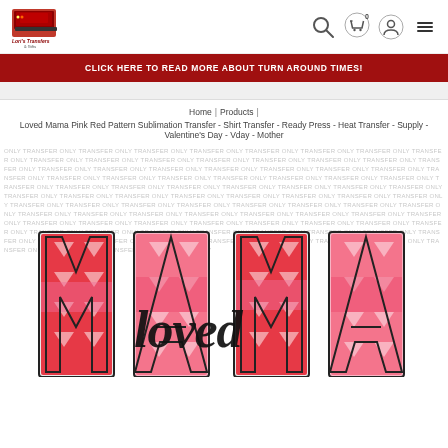[Figure (logo): Lori's Transfers & Gifts logo - small red and black image with text]
[Figure (infographic): Navigation icons: search, cart (0), account, hamburger menu]
CLICK HERE TO READ MORE ABOUT TURN AROUND TIMES!
Home | Products | Loved Mama Pink Red Pattern Sublimation Transfer - Shirt Transfer - Ready Press - Heat Transfer - Supply - Valentine's Day - Vday - Mother
[Figure (illustration): Loved Mama sublimation transfer design showing large MAMA letters in pink and red aztec/geometric pattern with 'loved' script overlay and watermark text pattern background]